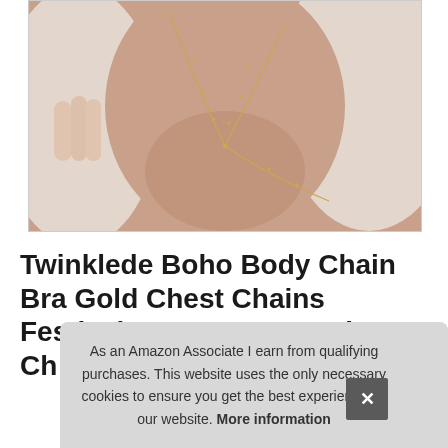[Figure (photo): Close-up photo of a person's chest/décolletage area wearing a delicate gold body chain bra harness jewelry. The person is wearing a light-colored blouse. A thin gold chain forms a Y or triangle shape across the chest.]
Twinklede Boho Body Chain Bra Gold Chest Chains Festival Rave Harness Ch Ch
As an Amazon Associate I earn from qualifying purchases. This website uses the only necessary cookies to ensure you get the best experience on our website. More information